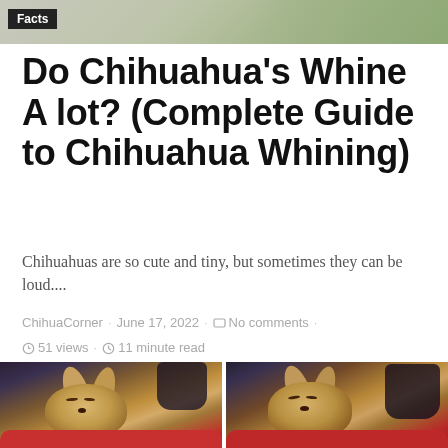[Figure (photo): Partial header image showing a light background with foliage and a 'Facts' badge label in the upper-left corner]
Do Chihuahua's Whine A lot? (Complete Guide to Chihuahua Whining)
Chihuahuas are so cute and tiny, but sometimes they can be loud....
ChihuaCorner · June 17, 2022 · No comments · 51 views · 11 minute read
[Figure (photo): Two side-by-side video stills of a small tan Chihuahua puppy appearing to whine or squint, sitting on a red surface with a person's hand visible]